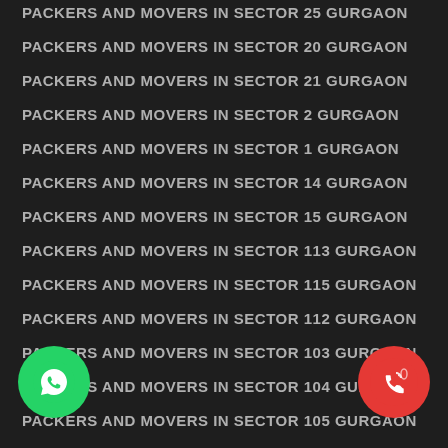PACKERS AND MOVERS IN SECTOR 25 GURGAON
PACKERS AND MOVERS IN SECTOR 20 GURGAON
PACKERS AND MOVERS IN SECTOR 21 GURGAON
PACKERS AND MOVERS IN SECTOR 2 GURGAON
PACKERS AND MOVERS IN SECTOR 1 GURGAON
PACKERS AND MOVERS IN SECTOR 14 GURGAON
PACKERS AND MOVERS IN SECTOR 15 GURGAON
PACKERS AND MOVERS IN SECTOR 113 GURGAON
PACKERS AND MOVERS IN SECTOR 115 GURGAON
PACKERS AND MOVERS IN SECTOR 112 GURGAON
PACKERS AND MOVERS IN SECTOR 103 GURGAON
PACKERS AND MOVERS IN SECTOR 104 GURGAON
PACKERS AND MOVERS IN SECTOR 105 GURGAON
PACKERS AND MOVERS IN SECTOR 106 GURGAON
PACKERS AND MOVERS IN SECTOR 107 GURGAON
PACKERS AND MOVERS IN SECTOR 108 GURGAON
PACKERS AND MOVERS IN SECTOR 109 GURGAON
PACKERS AND MOVERS IN SECTOR 110 GURGAON
PACKERS AND MOVERS IN SECTOR 111 GURGAON
[Figure (illustration): Green WhatsApp phone icon button (circle) in bottom-left corner]
[Figure (illustration): Red call/phone icon button (circle) in bottom-right corner]